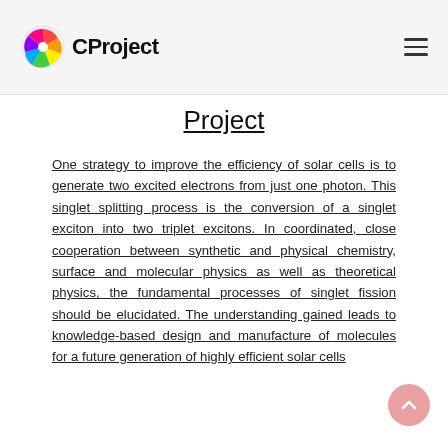CProject
Project
One strategy to improve the efficiency of solar cells is to generate two excited electrons from just one photon. This singlet splitting process is the conversion of a singlet exciton into two triplet excitons. In coordinated, close cooperation between synthetic and physical chemistry, surface and molecular physics as well as theoretical physics, the fundamental processes of singlet fission should be elucidated. The understanding gained leads to knowledge-based design and manufacture of molecules for a future generation of highly efficient solar cells